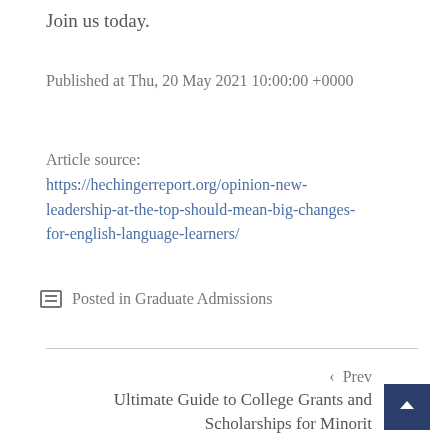Join us today.
Published at Thu, 20 May 2021 10:00:00 +0000
Article source: https://hechingerreport.org/opinion-new-leadership-at-the-top-should-mean-big-changes-for-english-language-learners/
Posted in Graduate Admissions
‹  Prev
Ultimate Guide to College Grants and Scholarships for Minorit…